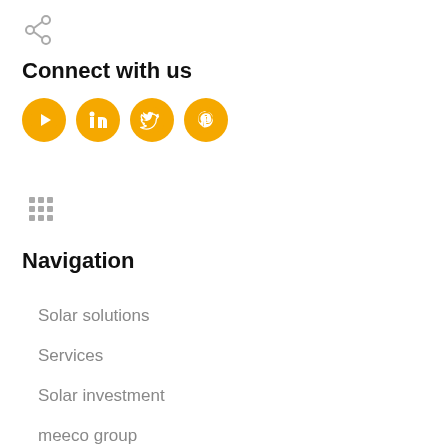[Figure (illustration): Share icon (network/share symbol) in gray]
Connect with us
[Figure (illustration): Four social media icons (YouTube, LinkedIn, Twitter, Pinterest) in orange/yellow circles]
[Figure (illustration): Grid/apps menu icon in gray]
Navigation
Solar solutions
Services
Solar investment
meeco group
References
News